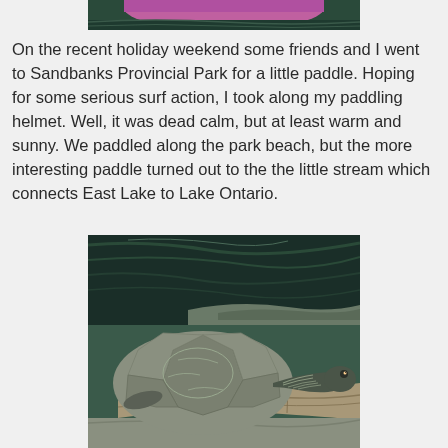[Figure (photo): Partial view of a pink/purple kayak on water, cropped at top of page]
On the recent holiday weekend some friends and I went to Sandbanks Provincial Park for a little paddle. Hoping for some serious surf action, I took along my paddling helmet. Well, it was dead calm, but at least warm and sunny. We paddled along the park beach, but the more interesting paddle turned out to the the little stream which connects East Lake to Lake Ontario.
[Figure (photo): A turtle resting on a log with dark water and rocky shore in the background]